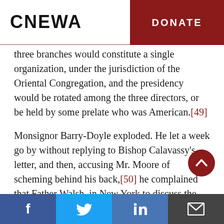CNEWA  |  DONATE
three branches would constitute a single organization, under the jurisdiction of the Oriental Congregation, and the presidency would be rotated among the three directors, or be held by some prelate who was American.[49]
Monsignor Barry-Doyle exploded. He let a week go by without replying to Bishop Calavassy's letter, and then, accusing Mr. Moore of scheming behind his back,[50] he complained that Father Walsh, in New York to discuss the
Facebook  Twitter  LinkedIn  Email